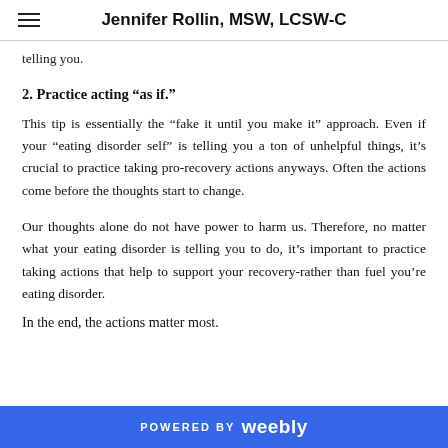Jennifer Rollin, MSW, LCSW-C
telling you.
2. Practice acting “as if.”
This tip is essentially the “fake it until you make it” approach. Even if your “eating disorder self” is telling you a ton of unhelpful things, it’s crucial to practice taking pro-recovery actions anyways. Often the actions come before the thoughts start to change.
Our thoughts alone do not have power to harm us. Therefore, no matter what your eating disorder is telling you to do, it’s important to practice taking actions that help to support your recovery-rather than fuel you’re eating disorder.
POWERED BY weebly